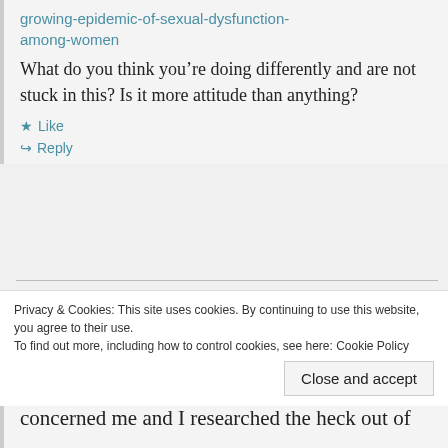growing-epidemic-of-sexual-dysfunction-among-women
What do you think you’re doing differently and are not stuck in this? Is it more attitude than anything?
★ Like
↪ Reply
mel
June 3, 2014 at 6:25 pm
Privacy & Cookies: This site uses cookies. By continuing to use this website, you agree to their use.
To find out more, including how to control cookies, see here: Cookie Policy
Close and accept
concerned me and I researched the heck out of